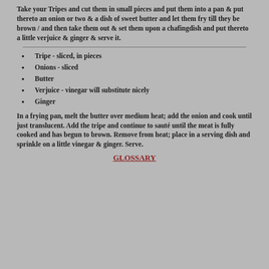Take your Tripes and cut them in small pieces and put them into a pan & put thereto an onion or two & a dish of sweet butter and let them fry till they be brown / and then take them out & set them upon a chafingdish and put thereto a little verjuice & ginger & serve it.
Tripe - sliced, in pieces
Onions - sliced
Butter
Verjuice - vinegar will substitute nicely
Ginger
In a frying pan, melt the butter over medium heat; add the onion and cook until just translucent. Add the tripe and continue to sauté until the meat is fully cooked and has begun to brown. Remove from heat; place in a serving dish and sprinkle on a little vinegar & ginger. Serve.
GLOSSARY